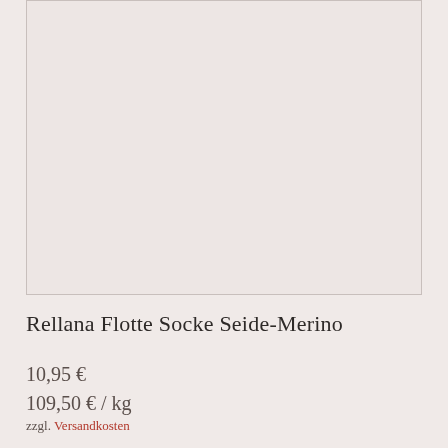[Figure (photo): Product image placeholder — light pinkish-beige empty rectangle representing a product photo area]
Rellana Flotte Socke Seide-Merino
10,95 €
109,50 € / kg
zzgl. Versandkosten